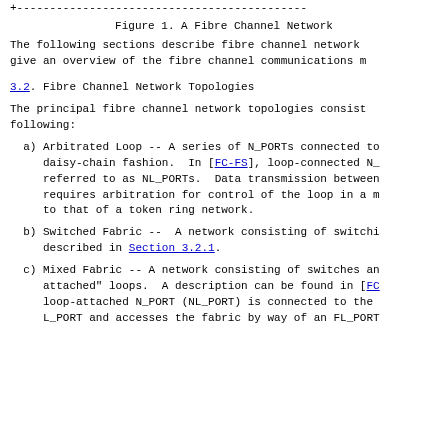Figure 1. A Fibre Channel Network
The following sections describe fibre channel network give an overview of the fibre channel communications m
3.2.  Fibre Channel Network Topologies
The principal fibre channel network topologies consist following:
a) Arbitrated Loop -- A series of N_PORTs connected to daisy-chain fashion.  In [FC-FS], loop-connected N_ referred to as NL_PORTs.  Data transmission between requires arbitration for control of the loop in a m to that of a token ring network.
b) Switched Fabric --  A network consisting of switchi described in Section 3.2.1.
c) Mixed Fabric -- A network consisting of switches an attached" loops.  A description can be found in [FC loop-attached N_PORT (NL_PORT) is connected to the L_PORT and accesses the fabric by way of an FL_PORT